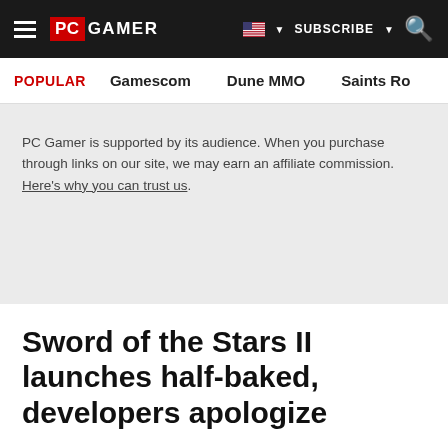PC GAMER | SUBSCRIBE
POPULAR  Gamescom  Dune MMO  Saints Ro
PC Gamer is supported by its audience. When you purchase through links on our site, we may earn an affiliate commission. Here's why you can trust us.
Sword of the Stars II launches half-baked, developers apologize